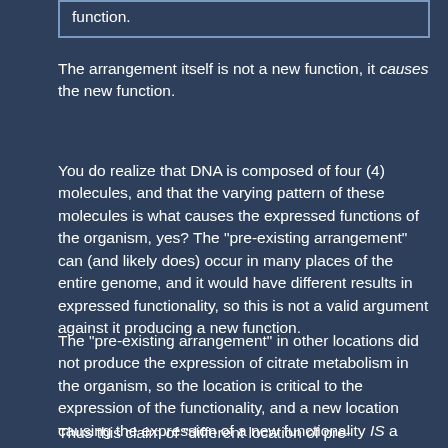function.
The arrangement itself is not a new function, it causes the new function.
You do realize that DNA is composed of four (4) molecules, and that the varying pattern of these molecules is what causes the expressed functions of the organism, yes? The "pre-existing arrangement" can (and likely does) occur in many places of the entire genome, and it would have different results in expressed functionality, so this is not a valid argument against it producing a new function.
The "pre-existing arrangement" in other locations did not produce the expression of citrate metabolism in the organism, so the location is critical to the expression of the functionality, and a new location causing the expression of a new functionality IS a new arrangement.
Thus this claim of "different location of pre-